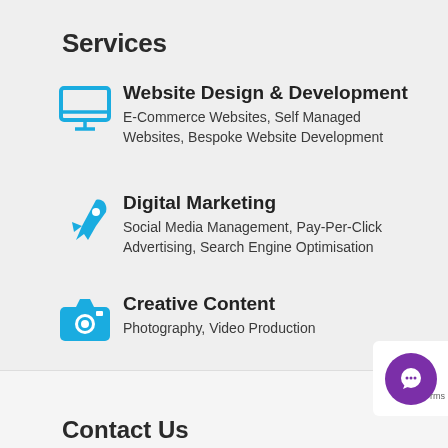Services
Website Design & Development — E-Commerce Websites, Self Managed Websites, Bespoke Website Development
Digital Marketing — Social Media Management, Pay-Per-Click Advertising, Search Engine Optimisation
Creative Content — Photography, Video Production
Contact Us